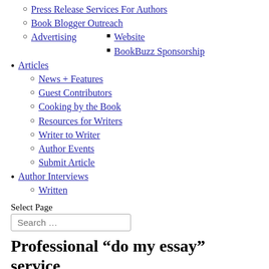Press Release Services For Authors
Book Blogger Outreach
Advertising
Website
BookBuzz Sponsorship
Articles
News + Features
Guest Contributors
Cooking by the Book
Resources for Writers
Writer to Writer
Author Events
Submit Article
Author Interviews
Written
Select Page
Professional “do my essay” service
They work with the payment team that helps essays pay your assignment charges with most essays and hassle-free manner. Service can contact the sales team directly to know how to pay to